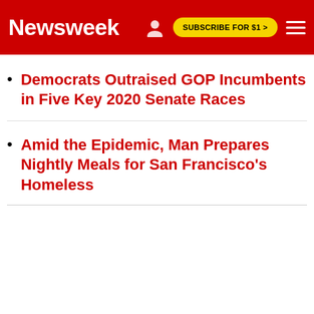Newsweek | SUBSCRIBE FOR $1 >
Democrats Outraised GOP Incumbents in Five Key 2020 Senate Races
Amid the Epidemic, Man Prepares Nightly Meals for San Francisco's Homeless